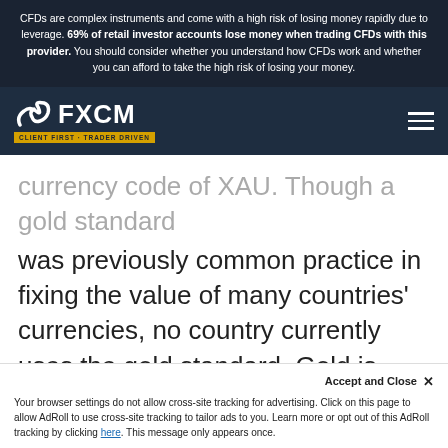CFDs are complex instruments and come with a high risk of losing money rapidly due to leverage. 69% of retail investor accounts lose money when trading CFDs with this provider. You should consider whether you understand how CFDs work and whether you can afford to take the high risk of losing your money.
[Figure (logo): FXCM logo with tagline CLIENT FIRST · TRADER DRIVEN on a dark navy navigation bar]
currency code of XAU. Though a gold standard was previously common practice in fixing the value of many countries' currencies, no country currently uses the gold standard. Gold is, however, used as a major financial asset for countries around the world.
Accept and Close ✕
Your browser settings do not allow cross-site tracking for advertising. Click on this page to allow AdRoll to use cross-site tracking to tailor ads to you. Learn more or opt out of this AdRoll tracking by clicking here. This message only appears once.